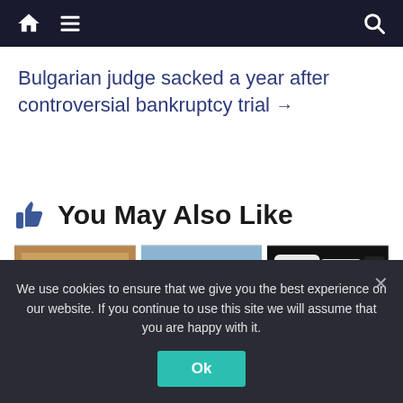Navigation bar with home, menu, and search icons
Bulgarian judge sacked a year after controversial bankruptcy trial →
👍 You May Also Like
[Figure (photo): Three thumbnail images in a row: a red Cyrillic sign, a sign reading FREI, and smartphone screens]
We use cookies to ensure that we give you the best experience on our website. If you continue to use this site we will assume that you are happy with it.